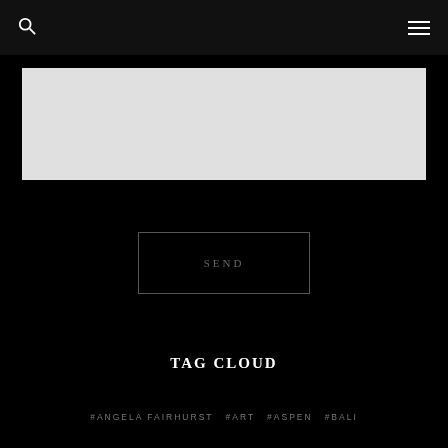Search | Menu navigation
[Figure (other): Light grey input/textarea box for user message or comment entry]
SEND
TAG CLOUD
#ANGELA FAIRHURST  #ART  #ASPEN  #BALI